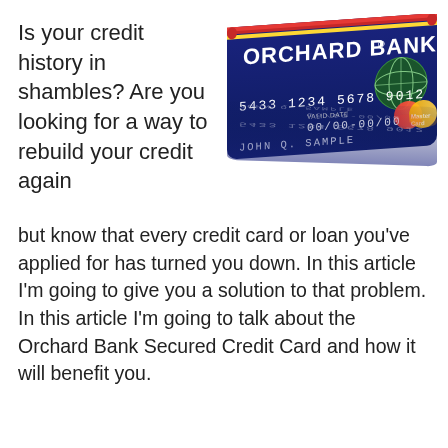Is your credit history in shambles?  Are you looking for a way to rebuild your credit again
[Figure (illustration): Orchard Bank MasterCard credit card with card number 5433 1234 5678 9012, expiry 00/00-00/00, cardholder name JOHN Q. SAMPLE, shown with reflection below]
but know that every credit card or loan you’ve applied for has turned you down.  In this article I’m going to give you a solution to that problem.  In this article I’m going to talk about the Orchard Bank Secured Credit Card and how it will benefit you.